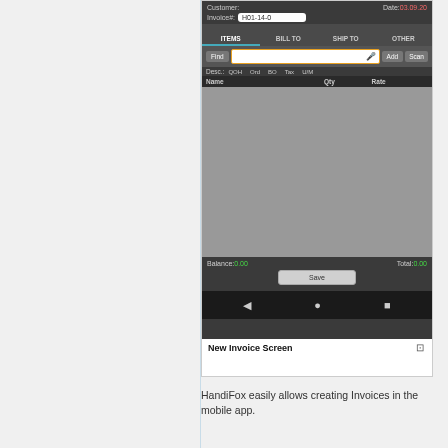[Figure (screenshot): Mobile app screenshot showing New Invoice Screen with Customer, Date, Invoice# fields, ITEMS/BILL TO/SHIP TO/OTHER tabs, Find/Add/Scan bar, Desc/QOH/Ord/BO/Tax/U-M row, Name/Qty/Rate column headers, empty items area, Balance: 0.00, Total: 0.00, Save button, and navigation bar.]
New Invoice Screen
HandiFox easily allows creating Invoices in the mobile app.